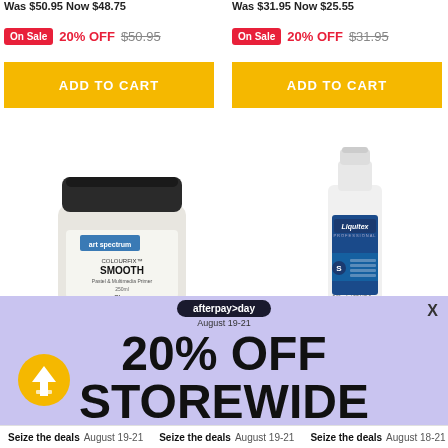Was $50.95 Now $48.75
Was $31.95 Now $25.55
On Sale 20% OFF $50.95
On Sale 20% OFF $31.95
ADD TO CART
ADD TO CART
[Figure (photo): Art Spectrum Colourfix Smooth Pastel & Multimedia Primer jar, clear, 250ml]
[Figure (photo): Liquitex Professional Gloss spray bottle, 946ml / 32 US fl oz]
afterpay day August 19-21
20% OFF STOREWIDE
Discount automatically applied T&Cs apply
X
Seize the deals  August 19-21  Seize the deals  August 19-21  Seize the deals  August 18-21